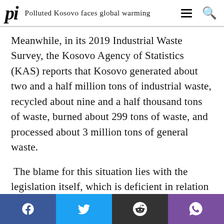pi Polluted Kosovo faces global warming
Meanwhile, in its 2019 Industrial Waste Survey, the Kosovo Agency of Statistics (KAS) reports that Kosovo generated about two and a half million tons of industrial waste, recycled about nine and a half thousand tons of waste, burned about 299 tons of waste, and processed about 3 million tons of general waste.
The blame for this situation lies with the legislation itself, which is deficient in relation to the management of plastic materials.